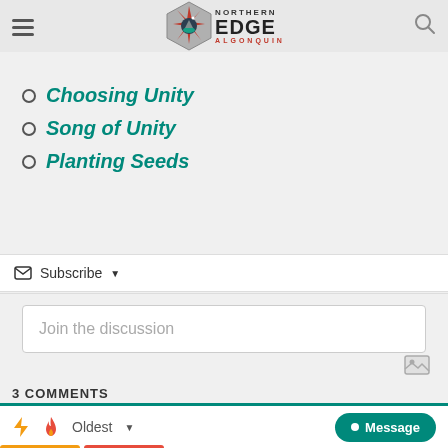Northern Edge Algonquin — navigation bar with hamburger menu and search icon
The Middle Place of Unity
Choosing Unity
Song of Unity
Planting Seeds
Subscribe ▾
Join the discussion
3 COMMENTS
Oldest ▾  Message